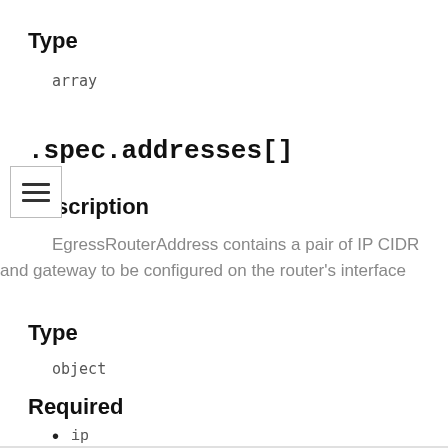Type
array
.spec.addresses[]
Description
EgressRouterAddress contains a pair of IP CIDR and gateway to be configured on the router’s interface
Type
object
Required
ip